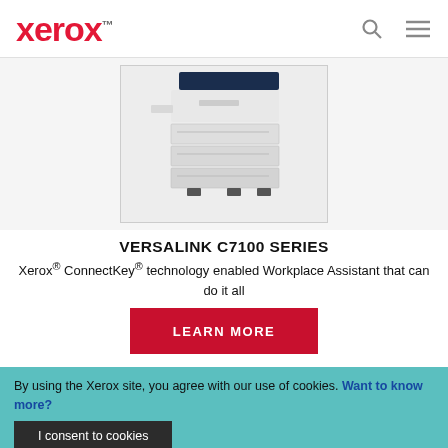xerox™
[Figure (photo): Xerox VersaLink C7100 Series printer/copier machine, white with dark blue top lid, multiple paper trays, shown on white/light grey background]
VERSALINK C7100 SERIES
Xerox® ConnectKey® technology enabled Workplace Assistant that can do it all
LEARN MORE
By using the Xerox site, you agree with our use of cookies. Want to know more?
I consent to cookies